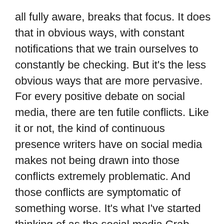all fully aware, breaks that focus. It does that in obvious ways, with constant notifications that we train ourselves to constantly be checking. But it's the less obvious ways that are more pervasive. For every positive debate on social media, there are ten futile conflicts. Like it or not, the kind of continuous presence writers have on social media makes not being drawn into those conflicts extremely problematic. And those conflicts are symptomatic of something worse. It's what I've started thinking of as the social media Crab Barrel effect, wherein social media tends to drag all its participants towards a median level of wisdom or understanding on any topic.

As a creative of any kind the crab barrel is, of